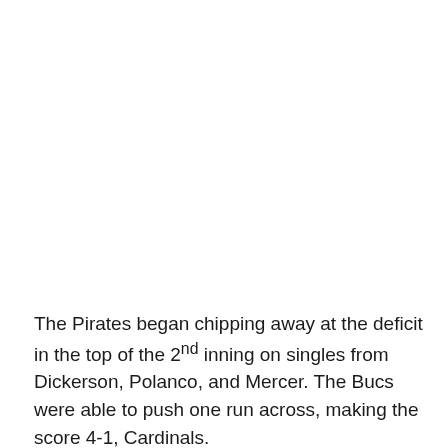The Pirates began chipping away at the deficit in the top of the 2nd inning on singles from Dickerson, Polanco, and Mercer. The Bucs were able to push one run across, making the score 4-1, Cardinals.